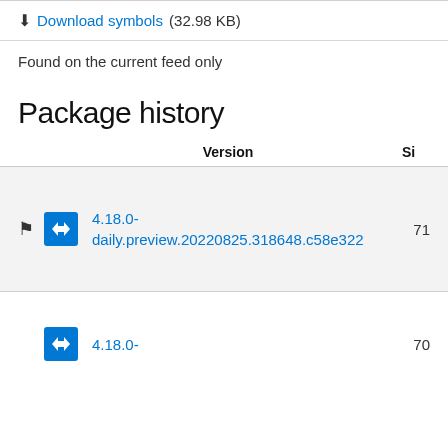⬇ Download symbols (32.98 KB)
Found on the current feed only
Package history
| Version | Size |
| --- | --- |
| 4.18.0-daily.preview.20220825.318648.c58e322 | 71 |
| 4.18.0- | 70 |